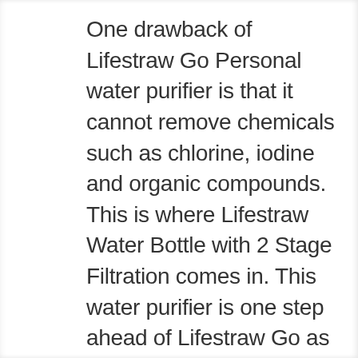One drawback of Lifestraw Go Personal water purifier is that it cannot remove chemicals such as chlorine, iodine and organic compounds. This is where Lifestraw Water Bottle with 2 Stage Filtration comes in. This water purifier is one step ahead of Lifestraw Go as it comes with additional filter that absorbs organic compounds and other chemicals.
Since bad taste and bad odour in water is mainly due to organic compounds, it improves the taste